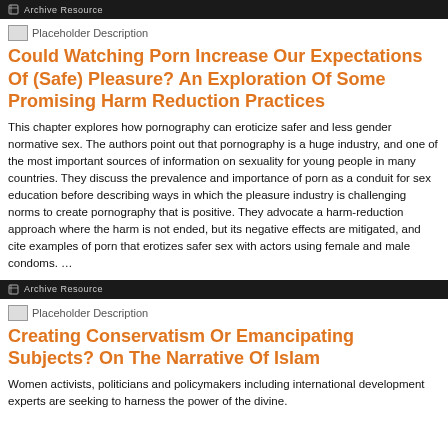Archive Resource
[Figure (photo): Placeholder image thumbnail]
Could Watching Porn Increase Our Expectations Of (Safe) Pleasure? An Exploration Of Some Promising Harm Reduction Practices
This chapter explores how pornography can eroticize safer and less gender normative sex. The authors point out that pornography is a huge industry, and one of the most important sources of information on sexuality for young people in many countries. They discuss the prevalence and importance of porn as a conduit for sex education before describing ways in which the pleasure industry is challenging norms to create pornography that is positive. They advocate a harm-reduction approach where the harm is not ended, but its negative effects are mitigated, and cite examples of porn that erotizes safer sex with actors using female and male condoms. …
Archive Resource
[Figure (photo): Placeholder image thumbnail]
Creating Conservatism Or Emancipating Subjects? On The Narrative Of Islam
Women activists, politicians and policymakers including international development experts are seeking to harness the power of the divine.